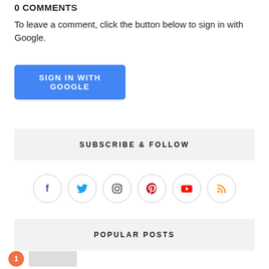0 COMMENTS
To leave a comment, click the button below to sign in with Google.
SIGN IN WITH GOOGLE
SUBSCRIBE & FOLLOW
[Figure (illustration): Six social media icon circles: Facebook (f), Twitter bird, Instagram, Pinterest, YouTube, RSS feed]
POPULAR POSTS